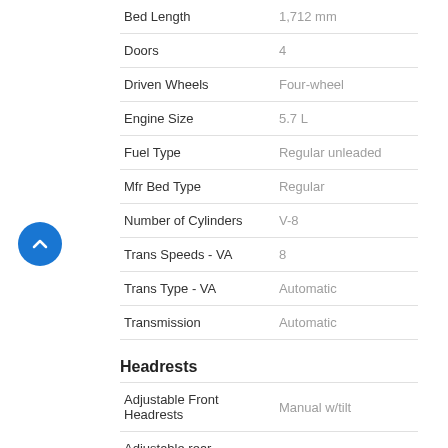| Attribute | Value |
| --- | --- |
| Bed Length | 1,712 mm |
| Doors | 4 |
| Driven Wheels | Four-wheel |
| Engine Size | 5.7 L |
| Fuel Type | Regular unleaded |
| Mfr Bed Type | Regular |
| Number of Cylinders | V-8 |
| Trans Speeds - VA | 8 |
| Trans Type - VA | Automatic |
| Transmission | Automatic |
Headrests
| Attribute | Value |
| --- | --- |
| Adjustable Front Headrests | Manual w/tilt |
| Adjustable rear headrests | Manual adjustable |
| Number of rear headrests | 3 |
Instrumentation
| Attribute | Value |
| --- | --- |
| Clock | In-radio display |